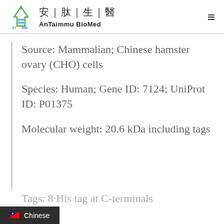安|肽|生|醫 AnTaimmu BioMed
Source: Mammalian; Chinese hamster ovary (CHO) cells
Species: Human; Gene ID: 7124; UniProt ID: P01375
Molecular weight: 20.6 kDa including tags
Tags: 8 His tag at C-terminals